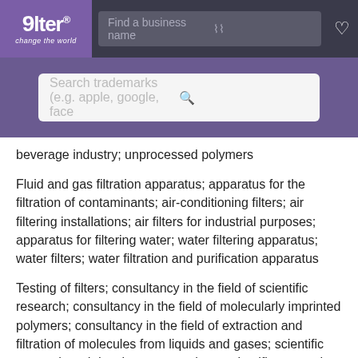[Figure (screenshot): Alter trademark search website header with logo, business name search bar, and filter/heart icons on dark background]
[Figure (screenshot): Purple search section with 'Search trademarks (e.g. apple, google, face...' input bar and magnifying glass icon]
beverage industry; unprocessed polymers
Fluid and gas filtration apparatus; apparatus for the filtration of contaminants; air-conditioning filters; air filtering installations; air filters for industrial purposes; apparatus for filtering water; water filtering apparatus; water filters; water filtration and purification apparatus
Testing of filters; consultancy in the field of scientific research; consultancy in the field of molecularly imprinted polymers; consultancy in the field of extraction and filtration of molecules from liquids and gases; scientific research and development services; scientific research, testing and analysis services